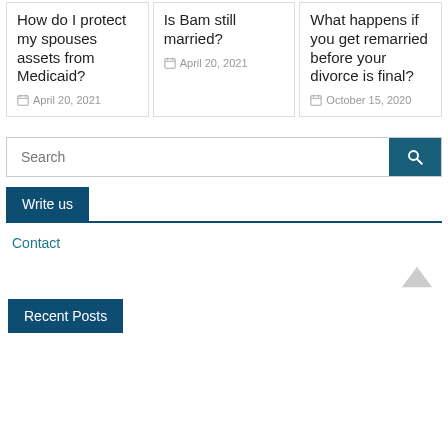How do I protect my spouses assets from Medicaid?
April 20, 2021
Is Bam still married?
April 20, 2021
What happens if you get remarried before your divorce is final?
October 15, 2020
Search
Write us
Contact
Recent Posts